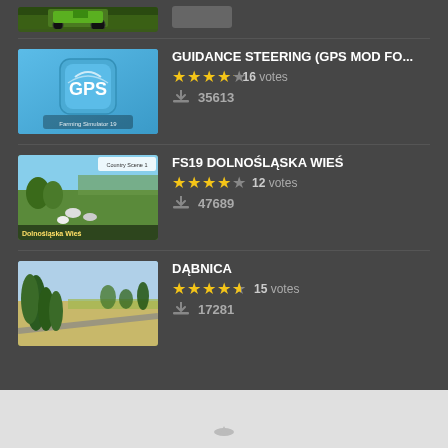[Figure (screenshot): Thumbnail image of farming tractor at top (partially visible)]
GUIDANCE STEERING (GPS MOD FO... | 4.5 stars | 16 votes | 35613 downloads
FS19 DOLNOŚLĄSKA WIEŚ | 4 stars | 12 votes | 47689 downloads
DĄBNICA | 4.5 stars | 15 votes | 17281 downloads